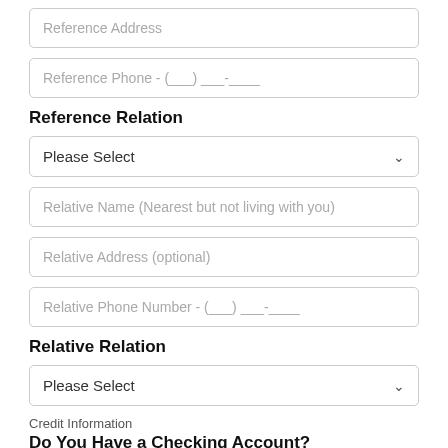Reference Address
Reference Phone - (___) ___-____
Reference Relation
Please Select
Relative Name (Nearest but not living with you)
Relative Address (optional)
Relative Phone Number - (___) ___-____
Relative Relation
Please Select
Credit Information
Do You Have a Checking Account?